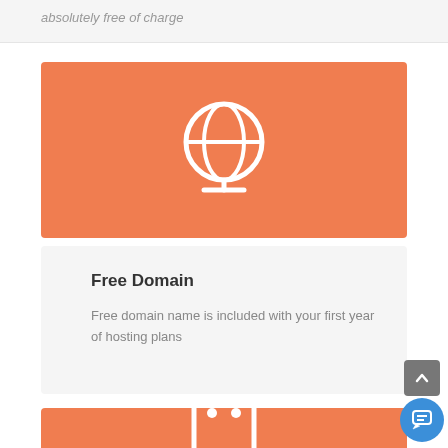absolutely free of charge
[Figure (illustration): Orange card with white globe/earth icon centered]
Free Domain
Free domain name is included with your first year of hosting plans
[Figure (illustration): Orange card with white ghost/robot icon, partially visible at bottom]